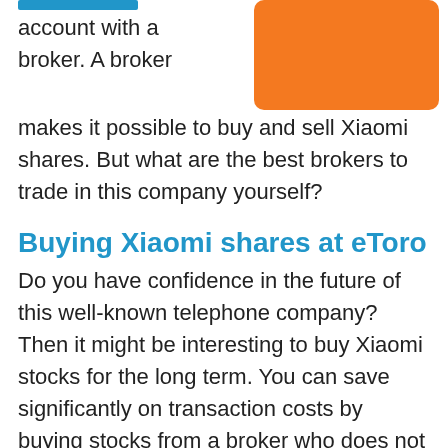account with a broker. A broker makes it possible to buy and sell Xiaomi shares. But what are the best brokers to trade in this company yourself?
[Figure (other): Orange rounded rectangle banner/button image]
Buying Xiaomi shares at eToro
Do you have confidence in the future of this well-known telephone company? Then it might be interesting to buy Xiaomi stocks for the long term. You can save significantly on transaction costs by buying stocks from a broker who does not charge commissions. A good example of this is eToro, use the button below to directly open an account with